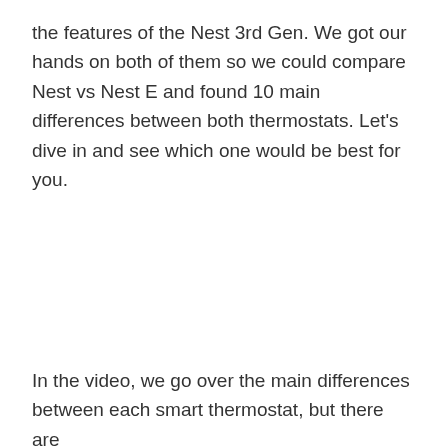the features of the Nest 3rd Gen. We got our hands on both of them so we could compare Nest vs Nest E and found 10 main differences between both thermostats. Let's dive in and see which one would be best for you.
In the video, we go over the main differences between each smart thermostat, but there are